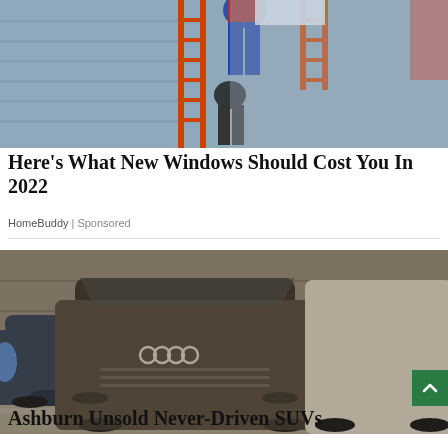[Figure (photo): Photo of workers on an orange ladder installing windows on the side of a house with blue siding]
Here's What New Windows Should Cost You In 2022
HomeBuddy | Sponsored
[Figure (photo): Photo of multiple dusty/dirty SUVs parked in a lot, including an Audi Q7 prominently in the foreground and a BMW X5 to the left]
Ashburn Unsold Never-Driven SUVs